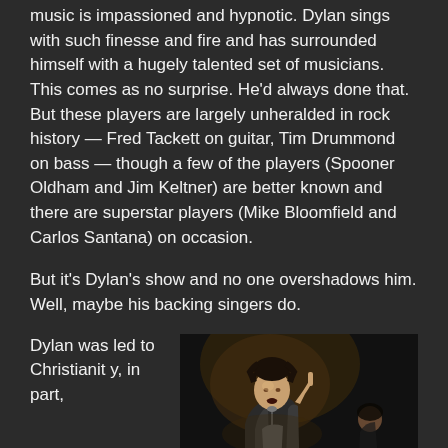music is impassioned and hypnotic. Dylan sings with such finesse and fire and has surrounded himself with a hugely talented set of musicians. This comes as no surprise. He'd always done that. But these players are largely unheralded in rock history — Fred Tackett on guitar, Tim Drummond on bass — though a few of the players (Spooner Oldham and Jim Keltner) are better known and there are superstar players (Mike Bloomfield and Carlos Santana) on occasion.
But it's Dylan's show and no one overshadows him. Well, maybe his backing singers do.
Dylan was led to Christianity, in part,
[Figure (photo): Black and white concert photo of Bob Dylan performing on stage, singing into a microphone with one finger raised, wearing a jacket, with another musician visible in the background.]